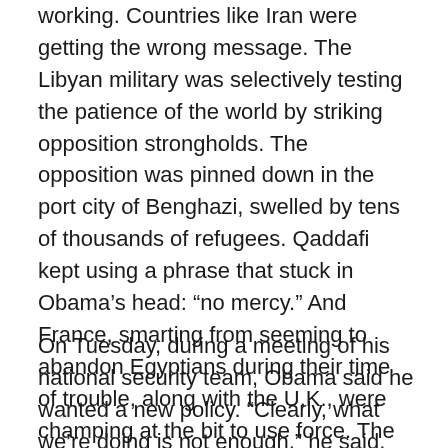working. Countries like Iran were getting the wrong message. The Libyan military was selectively testing the patience of the world by striking opposition strongholds. The opposition was pinned down in the port city of Benghazi, swelled by tens of thousands of refugees. Qaddafi kept using a phrase that stuck in Obama's head: “no mercy.” And France, smarting from seeming to abandon Egyptians during their time of trouble, along with the U.K., were champing at the bit to use force. The Arab League had kicked Libya out and was closer to the French position. It risked its own legitimacy, already questioned by many in the region, if it didn’t side with the rebels.
On Tuesday, during a meeting of his national security team, Obama said he wanted a new policy. “Clearly, what we’re doing is not enough,” he said, according to contemporaneous notes kept by a participant. A